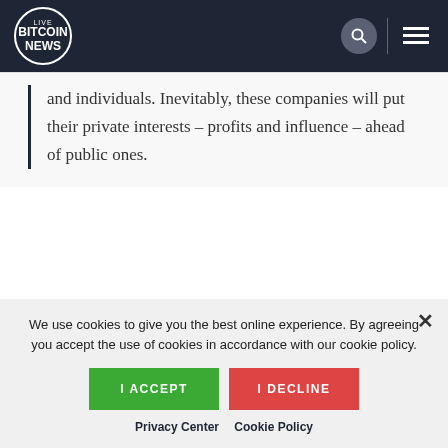LIVE BITCOIN NEWS
and individuals. Inevitably, these companies will put their private interests – profits and influence – ahead of public ones.
Hughes' big problem with Libra is the fact that it's
We use cookies to give you the best online experience. By agreeing you accept the use of cookies in accordance with our cookie policy.
I ACCEPT
I DECLINE
Privacy Center   Cookie Policy